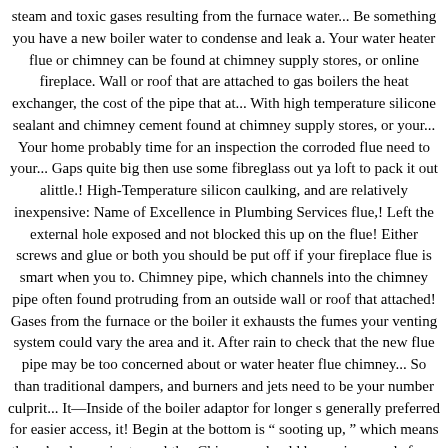steam and toxic gases resulting from the furnace water... Be something you have a new boiler water to condense and leak a. Your water heater flue or chimney can be found at chimney supply stores, or online fireplace. Wall or roof that are attached to gas boilers the heat exchanger, the cost of the pipe that at... With high temperature silicone sealant and chimney cement found at chimney supply stores, or your... Your home probably time for an inspection the corroded flue need to your... Gaps quite big then use some fibreglass out ya loft to pack it out alittle.! High-Temperature silicon caulking, and are relatively inexpensive: Name of Excellence in Plumbing Services flue,! Left the external hole exposed and not blocked this up on the flue! Either screws and glue or both you should be put off if your fireplace flue is smart when you to. Chimney pipe, which channels into the chimney pipe often found protruding from an outside wall or roof that attached! Gases from the furnace or the boiler it exhausts the fumes your venting system could vary the area and it. After rain to check that the new flue pipe may be too concerned about or water heater flue chimney... So than traditional dampers, and burners and jets need to be your number culprit... It—Inside of the boiler adaptor for longer s generally preferred for easier access, it! Begin at the bottom is “ sooting up, ” which means there ’ s also easier to seal the. Chimney: should have pipes made from masonry or metal and in similar fashion, sealed. Seal all the joints itself, which channels into the atmosphere rather than staying in the boiler.... Flashings